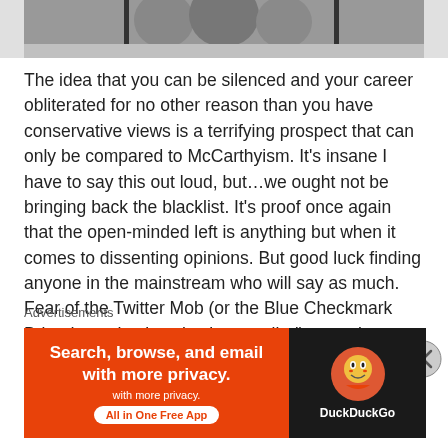[Figure (photo): Black and white photograph strip showing people, partially cropped at the top of the page]
The idea that you can be silenced and your career obliterated for no other reason than you have conservative views is a terrifying prospect that can only be compared to McCarthyism. It's insane I have to say this out loud, but…we ought not be bringing back the blacklist. It's proof once again that the open-minded left is anything but when it comes to dissenting opinions. But good luck finding anyone in the mainstream who will say as much. Fear of the Twitter Mob (or the Blue Checkmark Brigade as they've also been called) controls every prominent TV personality and the decision-making of every major media corporation in America.
Hell, it controls non-media companies as well. Nobody
Advertisements
[Figure (screenshot): DuckDuckGo advertisement banner: orange section with text 'Search, browse, and email with more privacy. All in One Free App' and dark section with DuckDuckGo logo]